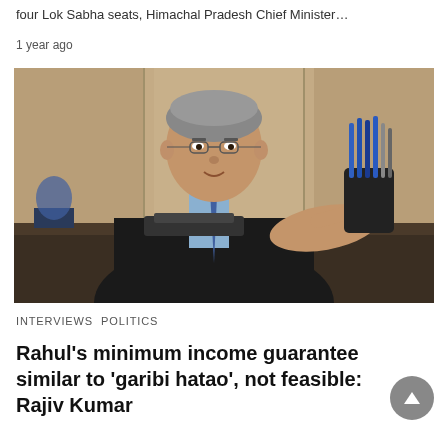four Lok Sabha seats, Himachal Pradesh Chief Minister…
1 year ago
[Figure (photo): A man in a dark suit and blue striped tie sits at a desk, pointing with his right hand toward the camera. He appears to be in an office setting with a wooden panel background. A pen holder with multiple pens is visible to his right.]
INTERVIEWS   POLITICS
Rahul's minimum income guarantee similar to 'garibi hatao', not feasible: Rajiv Kumar